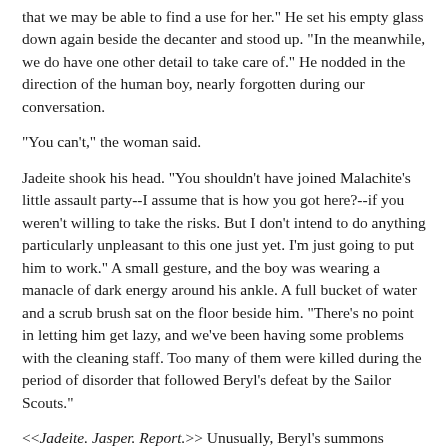that we may be able to find a use for her." He set his empty glass down again beside the decanter and stood up. "In the meanwhile, we do have one other detail to take care of." He nodded in the direction of the human boy, nearly forgotten during our conversation.
"You can't," the woman said.
Jadeite shook his head. "You shouldn't have joined Malachite's little assault party--I assume that is how you got here?--if you weren't willing to take the risks. But I don't intend to do anything particularly unpleasant to this one just yet. I'm just going to put him to work." A small gesture, and the boy was wearing a manacle of dark energy around his ankle. A full bucket of water and a scrub brush sat on the floor beside him. "There's no point in letting him get lazy, and we've been having some problems with the cleaning staff. Too many of them were killed during the period of disorder that followed Beryl's defeat by the Sailor Scouts."
<<Jadeite. Jasper. Report.>> Unusually, Beryl's summons wasn't coming at a completely inopportune time.
"I expect that floor to have a mirror polish on it by the time we get back," Jadeite snapped to the boy.
Jasper had been on the verge of protesting—